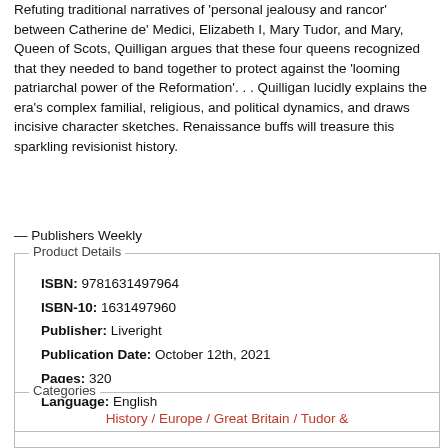Refuting traditional narratives of 'personal jealousy and rancor' between Catherine de' Medici, Elizabeth I, Mary Tudor, and Mary, Queen of Scots, Quilligan argues that these four queens recognized that they needed to band together to protect against the 'looming patriarchal power of the Reformation'. . . Quilligan lucidly explains the era's complex familial, religious, and political dynamics, and draws incisive character sketches. Renaissance buffs will treasure this sparkling revisionist history.
— Publishers Weekly
| ISBN: | 9781631497964 |
| ISBN-10: | 1631497960 |
| Publisher: | Liveright |
| Publication Date: | October 12th, 2021 |
| Pages: | 320 |
| Language: | English |
History / Europe / Great Britain / Tudor &